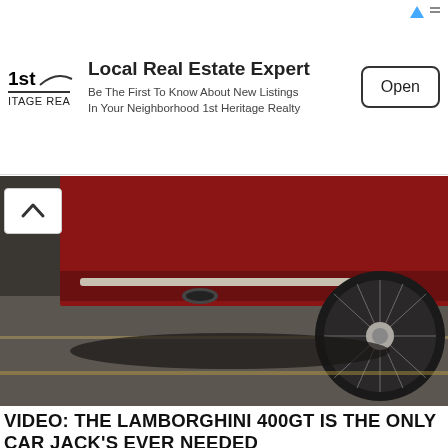[Figure (other): Advertisement banner for 1st Heritage Realty - Local Real Estate Expert with Open button]
[Figure (photo): Close-up photo of the rear lower section of a red classic car on asphalt, showing the bumper, exhaust, and wire-spoke wheel]
VIDEO: THE LAMBORGHINI 400GT IS THE ONLY CAR JACK'S EVER NEEDED
[Figure (photo): Photo showing the underside or chassis of a Lamborghini 400GT, with dark brown/rust colored components visible]